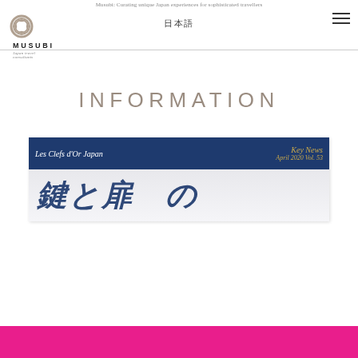Musubi: Curating unique Japan experiences for sophisticated travellers
[Figure (logo): Musubi logo with rope knot graphic and text MUSUBI]
日本語
INFORMATION
[Figure (screenshot): Les Clefs d'Or Japan Key News newsletter cover, April 2020 Vol. 53, with large Japanese italic text on blue and grey background]